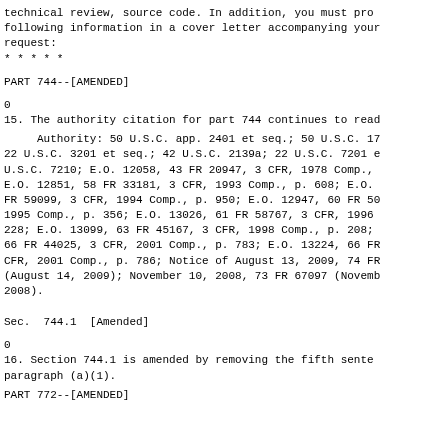technical review, source code. In addition, you must pro following information in a cover letter accompanying your request:
* * * * *
PART 744--[AMENDED]
0
15. The authority citation for part 744 continues to read
Authority: 50 U.S.C. app. 2401 et seq.; 50 U.S.C. 17 22 U.S.C. 3201 et seq.; 42 U.S.C. 2139a; 22 U.S.C. 7201 e U.S.C. 7210; E.O. 12058, 43 FR 20947, 3 CFR, 1978 Comp., E.O. 12851, 58 FR 33181, 3 CFR, 1993 Comp., p. 608; E.O. FR 59099, 3 CFR, 1994 Comp., p. 950; E.O. 12947, 60 FR 50 1995 Comp., p. 356; E.O. 13026, 61 FR 58767, 3 CFR, 1996 228; E.O. 13099, 63 FR 45167, 3 CFR, 1998 Comp., p. 208; 66 FR 44025, 3 CFR, 2001 Comp., p. 783; E.O. 13224, 66 FR CFR, 2001 Comp., p. 786; Notice of August 13, 2009, 74 FR (August 14, 2009); November 10, 2008, 73 FR 67097 (Novemb 2008).
Sec.  744.1  [Amended]
0
16. Section 744.1 is amended by removing the fifth sente paragraph (a)(1).
PART 772--[AMENDED]